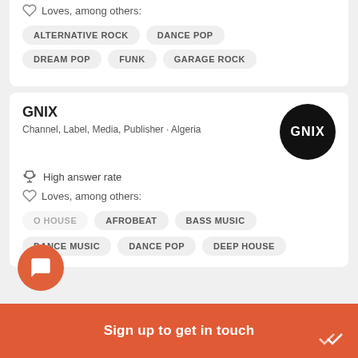Loves, among others:
ALTERNATIVE ROCK
DANCE POP
DREAM POP
FUNK
GARAGE ROCK
GNIX
Channel, Label, Media, Publisher · Algeria
High answer rate
Loves, among others:
O HOUSE
AFROBEAT
BASS MUSIC
DANCE MUSIC
DANCE POP
DEEP HOUSE
Sign up to get in touch